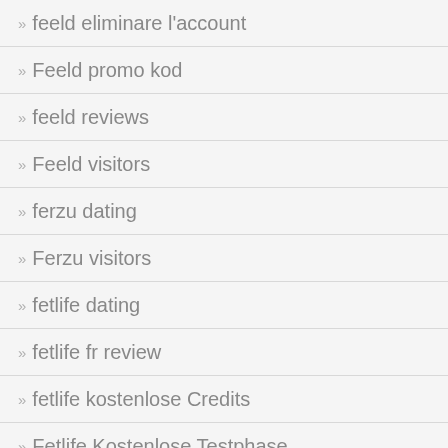feeld eliminare l'account
Feeld promo kod
feeld reviews
Feeld visitors
ferzu dating
Ferzu visitors
fetlife dating
fetlife fr review
fetlife kostenlose Credits
Fetlife Kostenlose Testphase